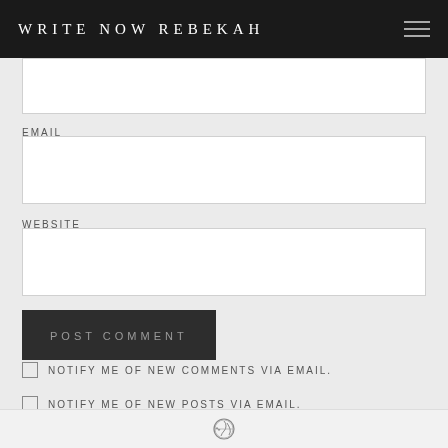WRITE NOW REBEKAH
EMAIL
[Figure (other): Email input text field (empty white rectangle)]
WEBSITE
[Figure (other): Website input text field (empty white rectangle)]
POST COMMENT
NOTIFY ME OF NEW COMMENTS VIA EMAIL.
NOTIFY ME OF NEW POSTS VIA EMAIL.
WordPress logo